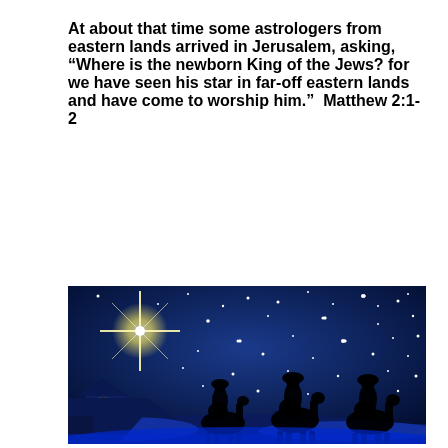At about that time some astrologers from eastern lands arrived in Jerusalem, asking, “Where is the newborn King of the Jews? for we have seen his star in far-off eastern lands and have come to worship him.”  Matthew 2:1-2
[Figure (illustration): Night sky illustration with a bright star of Bethlehem on the left, numerous white stars on a dark blue background, three wise men (Magi) riding camels in silhouette across the bottom, and a small stable/manger with glowing light on the lower left.]